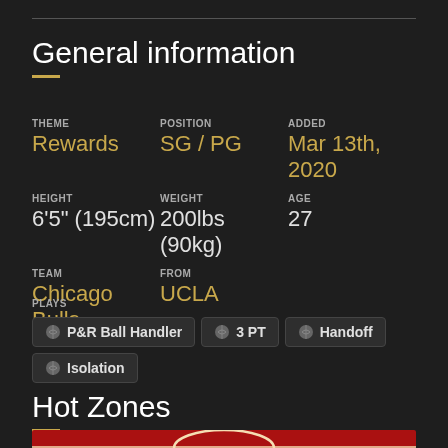General information
THEME
Rewards
POSITION
SG / PG
ADDED
Mar 13th, 2020
HEIGHT
6'5" (195cm)
WEIGHT
200lbs (90kg)
AGE
27
TEAM
Chicago Bulls
FROM
UCLA
PLAYS
P&R Ball Handler
3 PT
Handoff
Isolation
Hot Zones
[Figure (illustration): Partial basketball court diagram in red with arc lines visible at the bottom of the page]